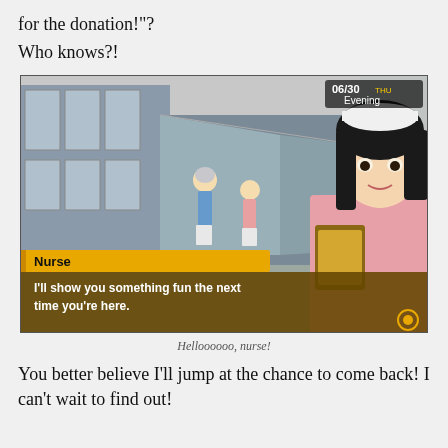for the donation!"?
Who knows?!
[Figure (screenshot): Screenshot from Persona 4 video game showing a hospital hallway with anime-style nurse character in foreground holding a clipboard, wearing pink uniform and white nurse cap. Two other characters visible in background hallway. HUD shows 06/30 THU Evening. Dialog box at bottom reads: Nurse - I'll show you something fun the next time you're here.]
Helloooooo, nurse!
You better believe I'll jump at the chance to come back! I can't wait to find out!